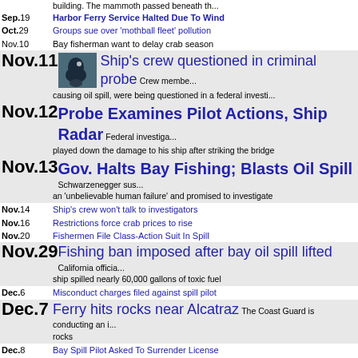building. The mammoth passed beneath th...
Sep.19 Harbor Ferry Service Halted Due To Wind
Oct.29 Groups sue over 'mothball fleet' pollution
Nov.10 Bay fisherman want to delay crab season
Nov.11 Ship's crew questioned in criminal probe Crew members causing oil spill, were being questioned in a federal investi...
Nov.12 Probe Examines Pilot Actions, Ship Radar Federal investiga... played down the damage to his ship after striking the bridge
Nov.13 Gov. Halts Bay Fishing; Blasts Oil Spill Schwarzenegger sus... an 'unbelievable human failure' and promised to investigate
Nov.14 Ship's crew won't talk to investigators
Nov.16 Restrictions force crab prices to rise
Nov.20 Fishermen File Class-Action Suit In Spill
Nov.29 Fishing ban imposed after bay oil spill lifted California officia... ship spilled nearly 60,000 gallons of toxic fuel
Dec.6 Misconduct charges filed against spill pilot
Dec.7 Ferry hits rocks near Alcatraz The Coast Guard is conducting an i... rocks
Dec.8 Bay Spill Pilot Asked To Surrender License
Dec.10 SF Sues Ship Owner Over Spill
Dec.11 Cota asks for extension on license
Dec.14 Oil spill ship scheduled to leave Bay
Dec.14 Oil Spill Ship Posts Bond To Depart Bay The federal governme... kept the vessel here
Dec.20 Cosco Busan to resume commerce
Dec.20 Cosco Busan leaves San Francisco The ship responsible has le...